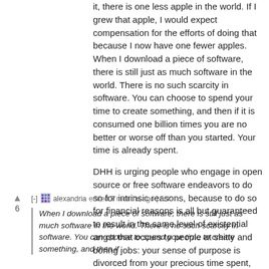it, there is one less apple in the world. If I grew that apple, I would expect compensation for the efforts of doing that because I now have one fewer apples. When I download a piece of software, there is still just as much software in the world. There is no such scarcity in software. You can choose to spend your time to create something, and then if it is consumed one billion times you are no better or worse off than you started. Your time is already spent.
DHH is urging people who engage in open source or free software endeavors to do so for intrinsic reasons, because to do so for financial reasons is all but guaranteed to result in the same level of existential angst that occurs to people at shitty and boring jobs: your sense of purpose is divorced from your precious time spent, and money doesn't fix that. That is the real exploitation.
[-] alexandria edited 7 months ago | link
6
When I download a piece of software, there is still just as much software in the world. There is no such scarcity in software. You can choose to spend your time to create something, and then if